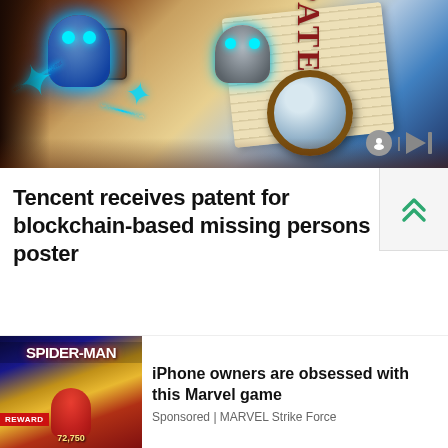[Figure (illustration): Illustration of robots with glowing blue lightning bolts examining a patent document with a magnifying glass on a wooden surface. The word PATENT appears in red on the document.]
Tencent receives patent for blockchain-based missing persons poster
[Figure (photo): Spider-Man advertisement thumbnail showing Spider-Man characters and promotional game imagery with text 'SPIDER-MAN' and reward amount '72,750']
iPhone owners are obsessed with this Marvel game
Sponsored | MARVEL Strike Force